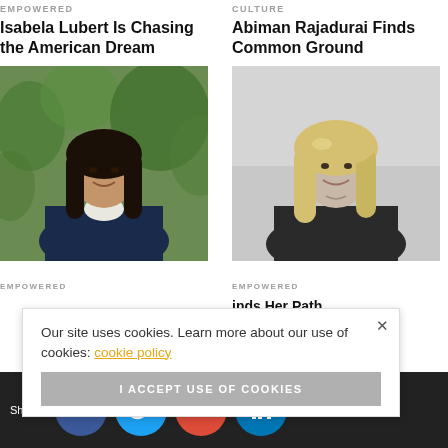EMPOWERED
Isabela Lubert Is Chasing the American Dream
[Figure (photo): Color portrait photo of a woman with long dark hair, smiling, wearing a dark blazer, outdoors with green foliage background]
CULTURE
Abiman Rajadurai Finds Common Ground
[Figure (photo): Black and white portrait photo of a blonde woman smiling, wearing a dark top, against a light background]
EMPOWERED
EMPOWERED
inds Her Path
Our site uses cookies. Learn more about our use of cookies: cookie policy
I ACCEPT USE OF COOKIES
Shares